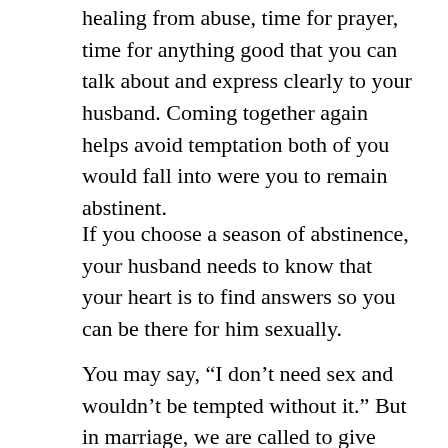healing from abuse, time for prayer, time for anything good that you can talk about and express clearly to your husband. Coming together again helps avoid temptation both of you would fall into were you to remain abstinent.
If you choose a season of abstinence, your husband needs to know that your heart is to find answers so you can be there for him sexually.
You may say, “I don’t need sex and wouldn’t be tempted without it.” But in marriage, we are called to give 100% for the good of the other. This means we are no longer only interested in our own needs, but just as concerned for the needs of the other. And if you don’t “need” sex, you most likely need